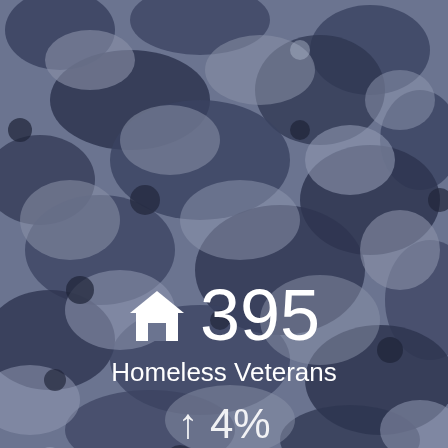[Figure (illustration): Camouflage pattern background in muted blue-gray and dark navy tones, resembling military digital/urban camouflage]
395 Homeless Veterans
↑ 4%